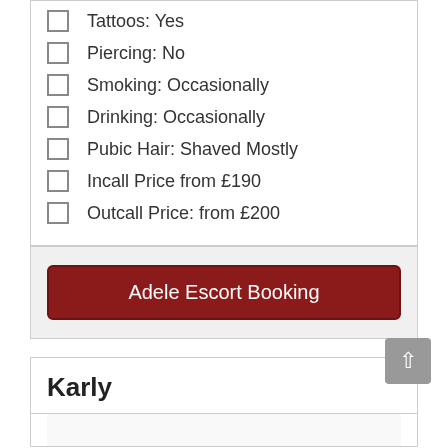Tattoos: Yes
Piercing: No
Smoking: Occasionally
Drinking: Occasionally
Pubic Hair: Shaved Mostly
Incall Price from £190
Outcall Price: from £200
Adele Escort Booking
Karly